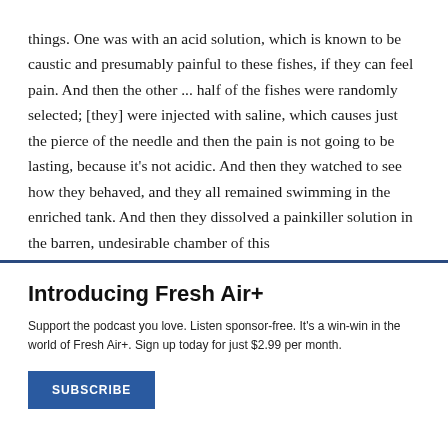things. One was with an acid solution, which is known to be caustic and presumably painful to these fishes, if they can feel pain. And then the other ... half of the fishes were randomly selected; [they] were injected with saline, which causes just the pierce of the needle and then the pain is not going to be lasting, because it's not acidic. And then they watched to see how they behaved, and they all remained swimming in the enriched tank. And then they dissolved a painkiller solution in the barren, undesirable chamber of this
Introducing Fresh Air+
Support the podcast you love. Listen sponsor-free. It's a win-win in the world of Fresh Air+. Sign up today for just $2.99 per month.
SUBSCRIBE